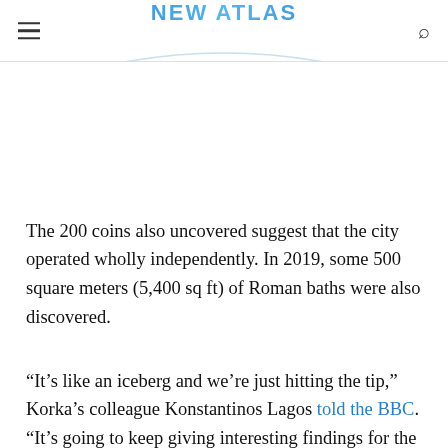NEW ATLAS
The 200 coins also uncovered suggest that the city operated wholly independently. In 2019, some 500 square meters (5,400 sq ft) of Roman baths were also discovered.
“It’s like an iceberg and we’re just hitting the tip,” Korka’s colleague Konstantinos Lagos told the BBC. “It’s going to keep giving interesting findings for the next 100 years.”